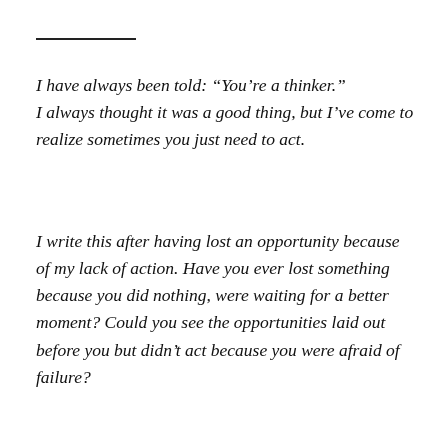I have always been told: “You’re a thinker.” I always thought it was a good thing, but I’ve come to realize sometimes you just need to act.
I write this after having lost an opportunity because of my lack of action. Have you ever lost something because you did nothing, were waiting for a better moment? Could you see the opportunities laid out before you but didn’t act because you were afraid of failure?